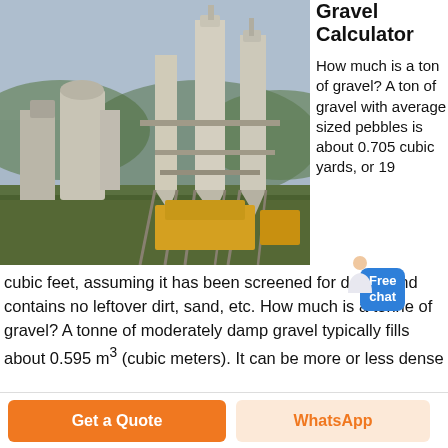[Figure (photo): Industrial gravel processing plant with large silos, conveyors, and yellow machinery surrounded by vegetation under a cloudy sky.]
Gravel Calculator
How much is a ton of gravel? A ton of gravel with average sized pebbles is about 0.705 cubic yards, or 19 cubic feet, assuming it has been screened for debris and contains no leftover dirt, sand, etc. How much is a tonne of gravel? A tonne of moderately damp gravel typically fills about 0.595 m 3 (cubic meters). It can be more or less dense
Get a Quote
WhatsApp